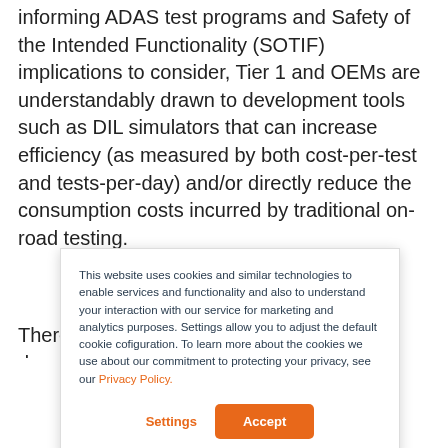informing ADAS test programs and Safety of the Intended Functionality (SOTIF) implications to consider, Tier 1 and OEMs are understandably drawn to development tools such as DIL simulators that can increase efficiency (as measured by both cost-per-test and tests-per-day) and/or directly reduce the consumption costs incurred by traditional on-road testing.
There can be little doubt that vehicle development...
This website uses cookies and similar technologies to enable services and functionality and also to understand your interaction with our service for marketing and analytics purposes. Settings allow you to adjust the default cookie cofiguration. To learn more about the cookies we use about our commitment to protecting your privacy, see our Privacy Policy.